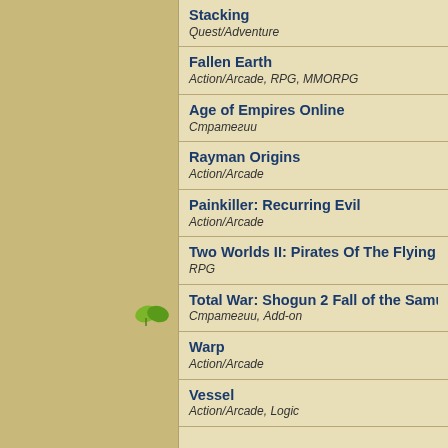Stacking
Quest/Adventure
Fallen Earth
Action/Arcade, RPG, MMORPG
Age of Empires Online
Стратегии
Rayman Origins
Action/Arcade
Painkiller: Recurring Evil
Action/Arcade
Two Worlds II: Pirates Of The Flying Fortr
RPG
Total War: Shogun 2 Fall of the Samurai
Стратегии, Add-on
Warp
Action/Arcade
Vessel
Action/Arcade, Logic